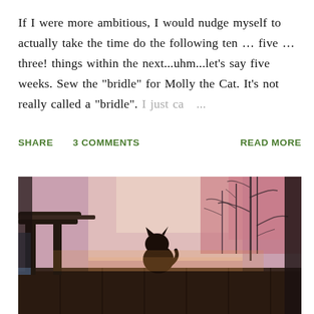If I were more ambitious, I would nudge myself to actually take the time do the following ten … five … three! things within the next...uhm...let's say five weeks. Sew the "bridle" for Molly the Cat. It's not really called a "bridle". I just ca ...
SHARE   3 COMMENTS   READ MORE
[Figure (photo): Outdoor photo of a cat silhouette sitting on a fence rail at sunset/dusk, with bare tree branches and a colorful pink and purple sky in the background. Wood fence and railing structure visible on the left.]